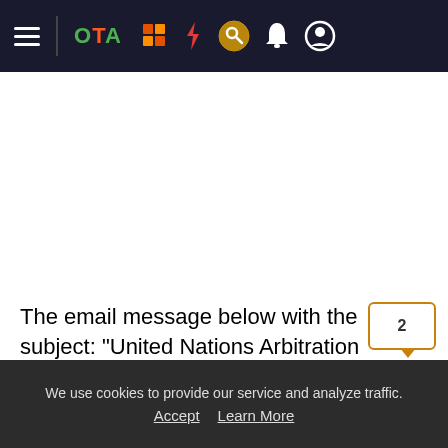OTA navigation bar with hamburger menu, OTA logo, and icons
[Figure (screenshot): White advertisement/blank area below navigation bar]
The email message below with the subject: "United Nations Arbitration Centre Department," which claims that the recipients have been awarded thousands of dollars because they were victims of online scammers, is a scam. The fraudulent email message was NOT sent by the United
We use cookies to provide our service and analyze traffic. Accept   Learn More